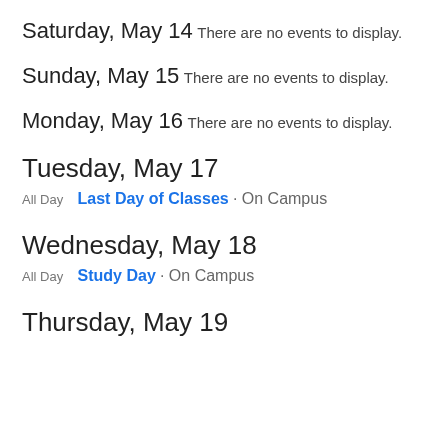Saturday, May 14
There are no events to display.
Sunday, May 15
There are no events to display.
Monday, May 16
There are no events to display.
Tuesday, May 17
All Day  Last Day of Classes · On Campus
Wednesday, May 18
All Day  Study Day · On Campus
Thursday, May 19